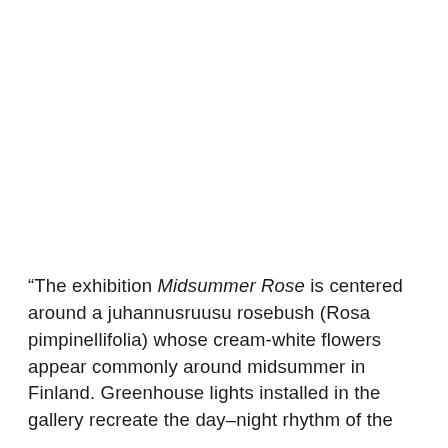“The exhibition Midsummer Rose is centered around a juhannusruusu rosebush (Rosa pimpinellifolia) whose cream-white flowers appear commonly around midsummer in Finland. Greenhouse lights installed in the gallery recreate the day-night rhythm of the